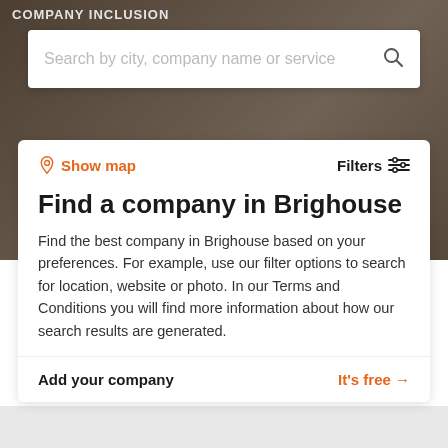COMPANY INCLUSION
Search by city, company name or service
Show map
Filters
Find a company in Brighouse
Find the best company in Brighouse based on your preferences. For example, use our filter options to search for location, website or photo. In our Terms and Conditions you will find more information about how our search results are generated.
Add your company
It's free →